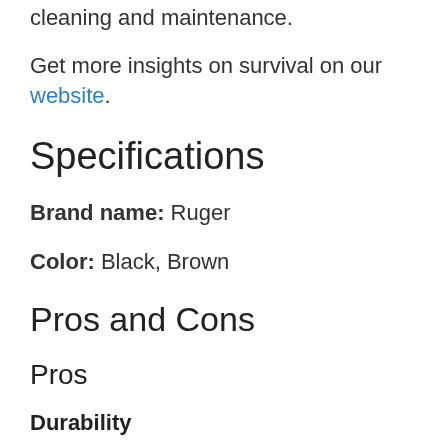cleaning and maintenance.
Get more insights on survival on our website.
Specifications
Brand name: Ruger
Color: Black, Brown
Pros and Cons
Pros
Durability
This gun is built to last for a long time. It is made with well-finished steel, and it is